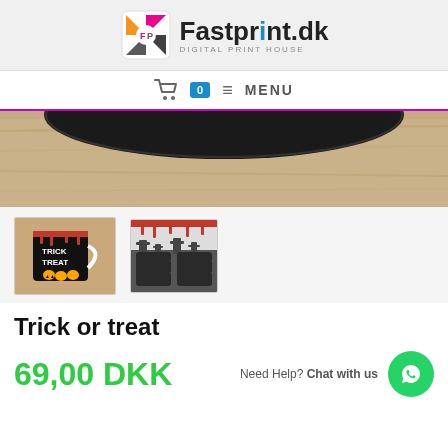[Figure (logo): Fastprint.dk Digital Print House logo with colorful diamond icon]
🛒 0 ≡ MENU
[Figure (photo): Close-up of bottom of a black mug on a wooden surface]
[Figure (photo): Two thumbnail product images of Halloween Trick or Treat mugs]
Trick or treat
Need Help? Chat with us
69,00 DKK